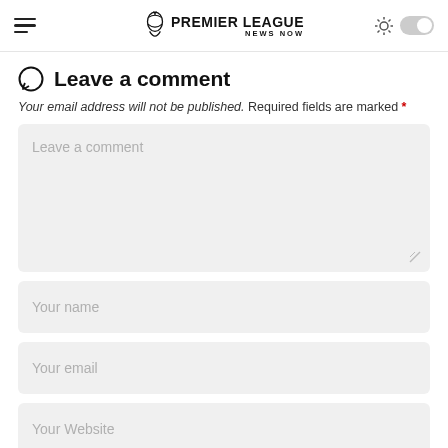Premier League News Now
Leave a comment
Your email address will not be published. Required fields are marked *
Leave a comment (textarea)
Your name
Your email
Your Website